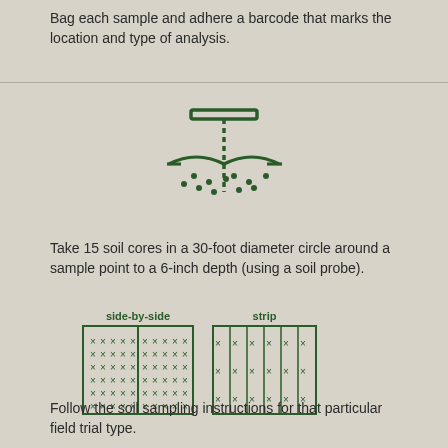Bag each sample and adhere a barcode that marks the location and type of analysis.
[Figure (illustration): Icon of a soil probe/T-bar being inserted into the ground, with dashed shaft penetrating a curved soil surface. Dots below the surface represent soil particles.]
Take 15 soil cores in a 30-foot diameter circle around a sample point to a 6-inch depth (using a soil probe).
[Figure (illustration): Side-by-side field trial diagram: a rectangular grid divided by a vertical center line, with X marks filling both halves in a 5-column by 6-row pattern. Labeled 'side-by-side'.]
[Figure (illustration): Strip field trial diagram: a rectangle divided into 6 vertical strips by lines, with X marks appearing in 3 rows (top, middle, bottom) across all strips. Labeled 'strip'.]
Follow the soil sampling instructions for that particular field trial type.